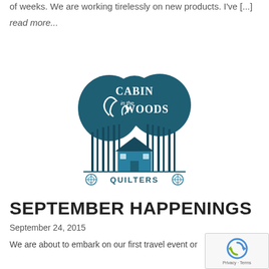of weeks. We are working tirelessly on new products. I've [...]
read more...
[Figure (logo): Cabin in the Woods Quilters logo — teal/dark teal illustration of trees and a cabin with decorative text]
SEPTEMBER HAPPENINGS
September 24, 2015
We are about to embark on our first travel event or